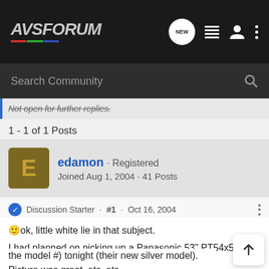AVS FORUM
Search Community
Not open for further replies.
1 - 1 of 1 Posts
edamon · Registered
Joined Aug 1, 2004 · 41 Posts
Discussion Starter · #1 · Oct 16, 2004
ok, little white lie in that subject.

I had planned on picking up a Panasonic 53" PT54x53 (i believe that's

the model #) tonight (their new silver model). Picture was great, etc, etc..